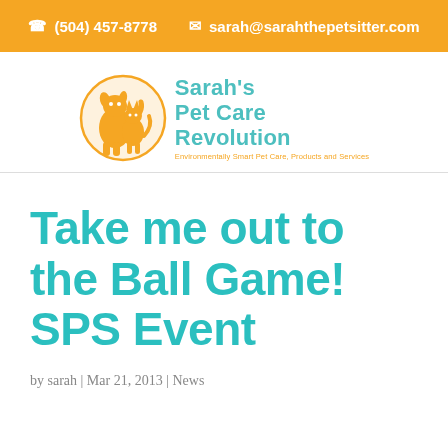(504) 457-8778  sarah@sarahthepetsitter.com
[Figure (logo): Sarah's Pet Care Revolution logo with illustrated dog and cat in orange circle, teal text reading Sarah's Pet Care Revolution, and orange tagline: Environmentally Smart Pet Care, Products and Services]
Take me out to the Ball Game! SPS Event
by sarah | Mar 21, 2013 | News